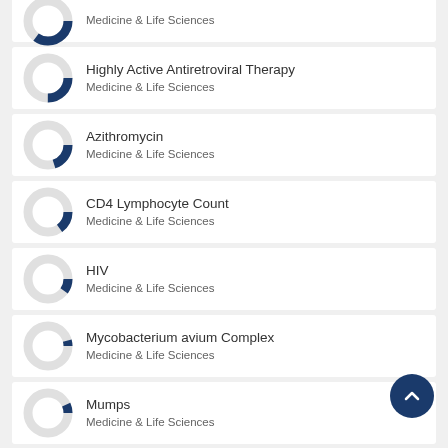Antiretroviral Therapy
Medicine & Life Sciences
Highly Active Antiretroviral Therapy
Medicine & Life Sciences
Azithromycin
Medicine & Life Sciences
CD4 Lymphocyte Count
Medicine & Life Sciences
HIV
Medicine & Life Sciences
Mycobacterium avium Complex
Medicine & Life Sciences
Mumps
Medicine & Life Sciences